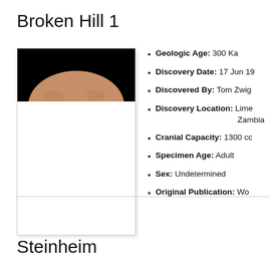Broken Hill 1
[Figure (photo): Photograph of Broken Hill 1 skull specimen showing top portion of cranium against black background]
Geologic Age: 300 Ka
Discovery Date: 17 Jun 19…
Discovered By: Tom Zwig…
Discovery Location: Lime… Zambia
Cranial Capacity: 1300 cc
Specimen Age: Adult
Sex: Undetermined
Original Publication: Woo…
Steinheim